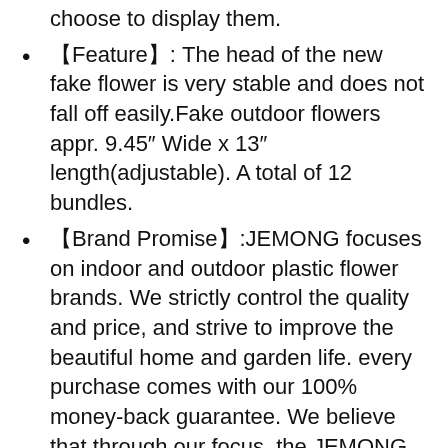choose to display them.
【Feature】: The head of the new fake flower is very stable and does not fall off easily.Fake outdoor flowers appr. 9.45″ Wide x 13″ length(adjustable). A total of 12 bundles.
【Brand Promise】:JEMONG focuses on indoor and outdoor plastic flower brands. We strictly control the quality and price, and strive to improve the beautiful home and garden life. every purchase comes with our 100% money-back guarantee. We believe that through our focus, the JEMONG brand will definitely make your life better!
【Multifunctional decoration】-